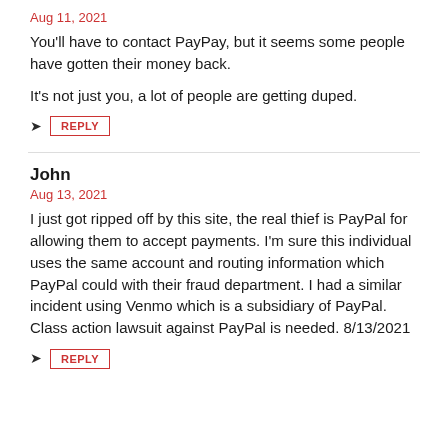Aug 11, 2021
You'll have to contact PayPay, but it seems some people have gotten their money back.
It's not just you, a lot of people are getting duped.
REPLY
John
Aug 13, 2021
I just got ripped off by this site, the real thief is PayPal for allowing them to accept payments. I'm sure this individual uses the same account and routing information which PayPal could with their fraud department. I had a similar incident using Venmo which is a subsidiary of PayPal. Class action lawsuit against PayPal is needed. 8/13/2021
REPLY